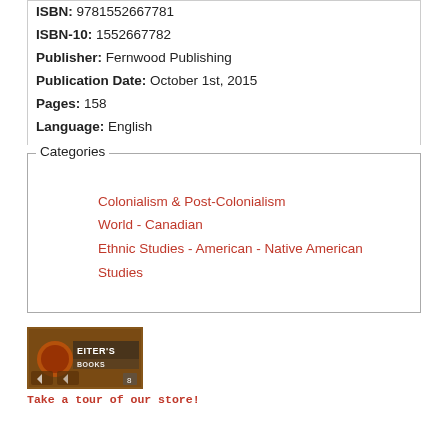ISBN: 9781552667781
ISBN-10: 1552667782
Publisher: Fernwood Publishing
Publication Date: October 1st, 2015
Pages: 158
Language: English
Categories
Colonialism & Post-Colonialism
World - Canadian
Ethnic Studies - American - Native American Studies
[Figure (photo): Storefront photo of Eiter's Books store]
Take a tour of our store!